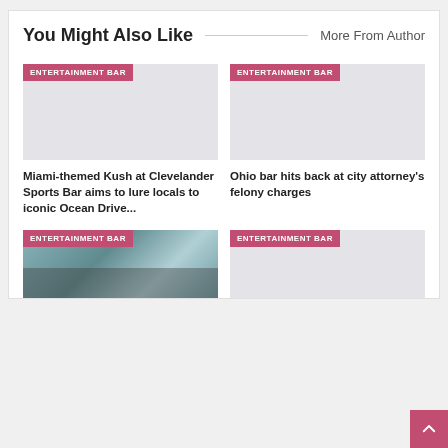You Might Also Like
More From Author
[Figure (photo): Placeholder image with ENTERTAINMENT BAR badge for Miami-themed Kush article]
Miami-themed Kush at Clevelander Sports Bar aims to lure locals to iconic Ocean Drive...
[Figure (photo): Placeholder image with ENTERTAINMENT BAR badge for Ohio bar article]
Ohio bar hits back at city attorney's felony charges
[Figure (photo): Photo of a bar/venue exterior with ENTERTAINMENT BAR badge]
[Figure (photo): Placeholder image with ENTERTAINMENT BAR badge]